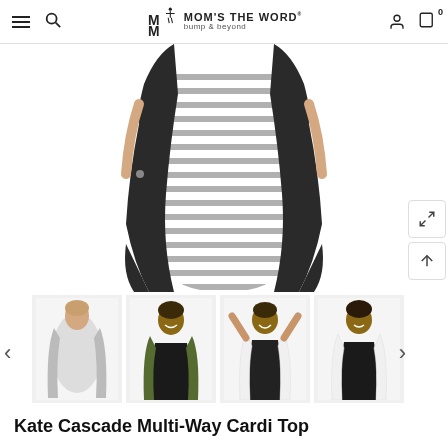Mom's The Word bump & beyond — navigation header with hamburger menu, search, logo, account, and cart icons
[Figure (photo): Main product photo showing a pregnant woman wearing a dark charcoal black cascade cardigan over a grey and white horizontal-stripe fitted dress, cropped to show torso and lower body]
[Figure (photo): Four thumbnail photos of the Kate Cascade Multi-Way Cardi Top: 1) grey version on model with striped dress, 2) dark green/olive version on model with black dress, 3) white version on smiling model with arms raised, 4) white version from back/side on model with black top]
Kate Cascade Multi-Way Cardi Top